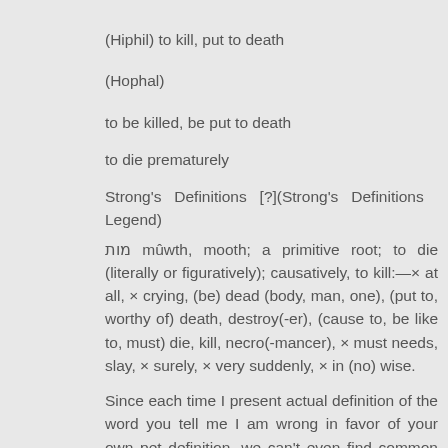(Hiphil) to kill, put to death
(Hophal)
to be killed, be put to death
to die prematurely
Strong's Definitions [?](Strong's Definitions Legend)
מות mûwth, mooth; a primitive root; to die (literally or figuratively); causatively, to kill:—× at all, × crying, (be) dead (body, man, one), (put to, worthy of) death, destroy(-er), (cause to, be like to, must) die, kill, necro(-mancer), × must needs, slay, × surely, × very suddenly, × in (no) wise.
Since each time I present actual definition of the word you tell me I am wrong in favor of your own pet definition, we can't even find common ground. Therefore its useless to attempt any